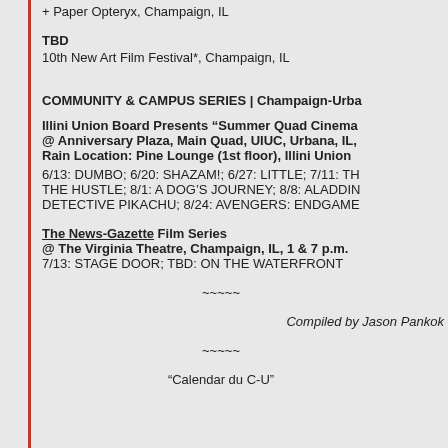+ Paper Opteryx, Champaign, IL
TBD
10th New Art Film Festival*, Champaign, IL
COMMUNITY & CAMPUS SERIES | Champaign-Urba
Illini Union Board Presents “Summer Quad Cinema @ Anniversary Plaza, Main Quad, UIUC, Urbana, IL, Rain Location: Pine Lounge (1st floor), Illini Union
6/13: DUMBO; 6/20: SHAZAM!; 6/27: LITTLE; 7/11: TH THE HUSTLE; 8/1: A DOG’S JOURNEY; 8/8: ALADDIN DETECTIVE PIKACHU; 8/24: AVENGERS: ENDGAME
The News-Gazette Film Series @ The Virginia Theatre, Champaign, IL, 1 & 7 p.m. 7/13: STAGE DOOR; TBD: ON THE WATERFRONT
~~~~~
Compiled by Jason Pankok
~~~~~
“Calendar du C-U”